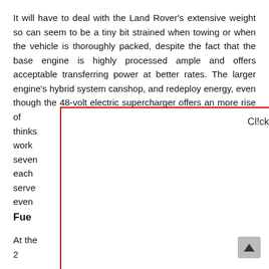It will have to deal with the Land Rover's extensive weight so can seem to be a tiny bit strained when towing or when the vehicle is thoroughly packed, despite the fact that the base engine is highly processed ample and offers acceptable transferring power at better rates. The larger engine's hybrid system canshop, and redeploy energy, even though the 48-volt electric supercharger offers an more rise of power very easily thinks  t you work  teady seven  out of each  s will serve  ients, even  etition in the
[Figure (screenshot): Modal overlay popup with red border containing the text 'Cl!ck Imag3 To Close!']
Fuel
At the  s for 2  rtrain.